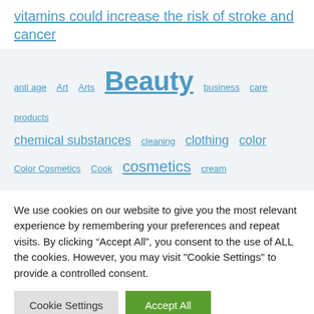vitamins could increase the risk of stroke and cancer
anti age  Art  Arts  Beauty  business  care products  chemical substances  cleaning  clothing  color  Color Cosmetics  Cook  cosmetics  cream
We use cookies on our website to give you the most relevant experience by remembering your preferences and repeat visits. By clicking "Accept All", you consent to the use of ALL the cookies. However, you may visit "Cookie Settings" to provide a controlled consent.
Cookie Settings  Accept All